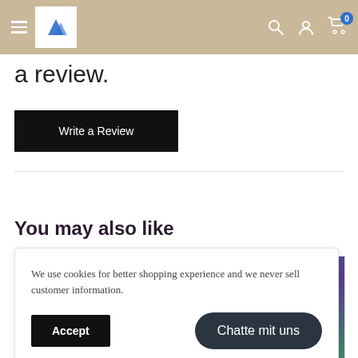Navigation bar with hamburger menu, logo, search, account, and cart icons
a review.
Write a Review
You may also like
We use cookies for better shopping experience and we never sell customer information.
Accept
Chatte mit uns